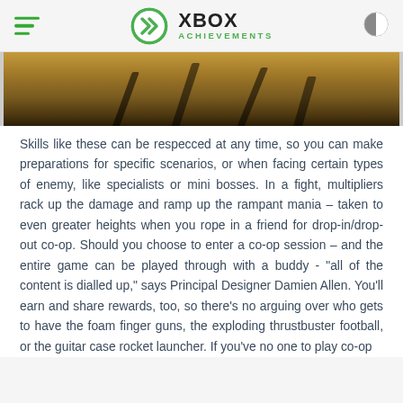XBOX ACHIEVEMENTS
[Figure (photo): A sandy outdoor scene showing shadows of people cast on the ground, with feet and legs visible at the top of the frame.]
Skills like these can be respecced at any time, so you can make preparations for specific scenarios, or when facing certain types of enemy, like specialists or mini bosses. In a fight, multipliers rack up the damage and ramp up the rampant mania – taken to even greater heights when you rope in a friend for drop-in/drop-out co-op. Should you choose to enter a co-op session – and the entire game can be played through with a buddy - "all of the content is dialled up," says Principal Designer Damien Allen. You'll earn and share rewards, too, so there's no arguing over who gets to have the foam finger guns, the exploding thrustbuster football, or the guitar case rocket launcher. If you've no one to play co-op